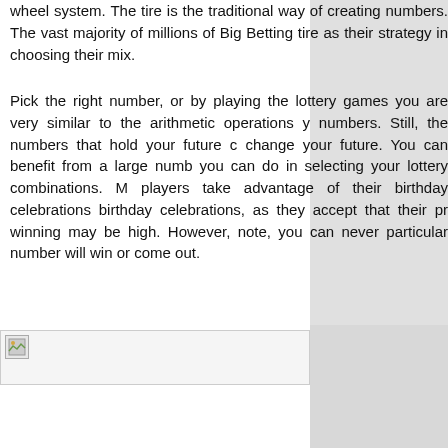wheel system. The tire is the traditional way of creating numbers. The vast majority of millions of Big Betting tire as their strategy in choosing their mix.
Pick the right number, or by playing the lottery games you are very similar to the arithmetic operations y numbers. Still, the numbers that hold your future c change your future. You can benefit from a large numb you can do in selecting your lottery combinations. M players take advantage of their birthday celebrations birthday celebrations, as they accept that their pr winning may be high. However, note, you can never particular number will win or come out.
[Figure (illustration): Small broken image placeholder icon in the bottom-left area of the page]